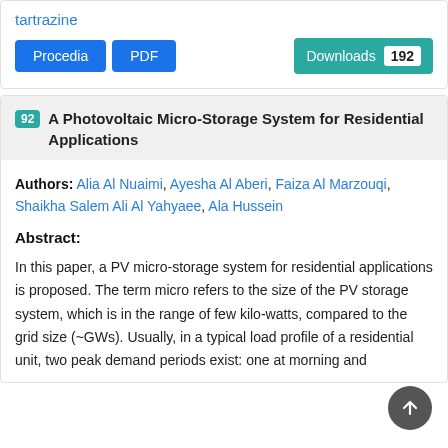tartrazine
Procedia | PDF | Downloads 192
92 A Photovoltaic Micro-Storage System for Residential Applications
Authors: Alia Al Nuaimi, Ayesha Al Aberi, Faiza Al Marzouqi, Shaikha Salem Ali Al Yahyaee, Ala Hussein
Abstract:
In this paper, a PV micro-storage system for residential applications is proposed. The term micro refers to the size of the PV storage system, which is in the range of few kilo-watts, compared to the grid size (~GWs). Usually, in a typical load profile of a residential unit, two peak demand periods exist: one at morning and